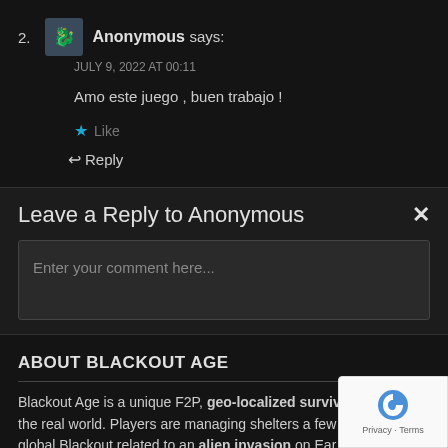2. Anonymous says: JULY 9, 2022 AT 00:11
Amo este juego , buen trabajo !
★ Like
↩ Reply
Leave a Reply to Anonymous
Enter your comment here...
ABOUT BLACKOUT AGE
Blackout Age is a unique F2P, geo-localized survival game set in the real world. Players are managing shelters a few months after global Blackout related to an alien invasion on Earth. Every day players have to send their survivors to the real street